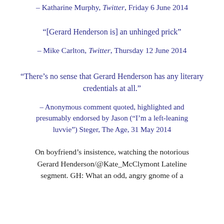– Katharine Murphy, Twitter, Friday 6 June 2014
“[Gerard Henderson is] an unhinged prick”
– Mike Carlton, Twitter, Thursday 12 June 2014
“There’s no sense that Gerard Henderson has any literary credentials at all.”
– Anonymous comment quoted, highlighted and presumably endorsed by Jason (“I’m a left-leaning luvvie”) Steger, The Age, 31 May 2014
On boyfriend’s insistence, watching the notorious Gerard Henderson/@Kate_McClymont Lateline segment. GH: What an odd, angry gnome of a